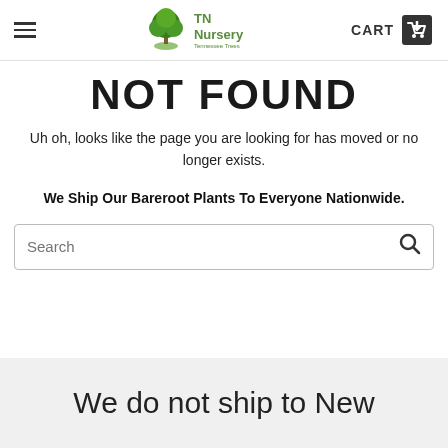TN Nursery | CART
NOT FOUND
Uh oh, looks like the page you are looking for has moved or no longer exists.
We Ship Our Bareroot Plants To Everyone Nationwide.
We do not ship to New